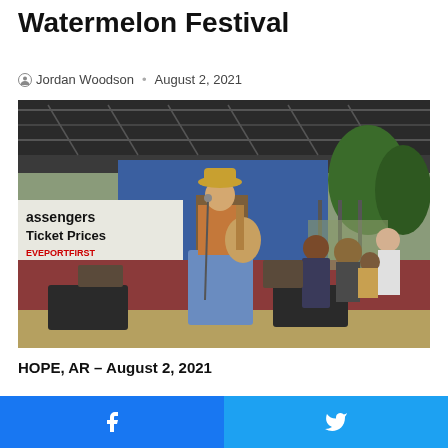Watermelon Festival
Jordan Woodson · August 2, 2021
[Figure (photo): A woman wearing a cowboy hat plays acoustic guitar on an outdoor stage at the Watermelon Festival. A banner reading 'Passengers Ticket Prices Shreveport First | Atlanta | Dallas | Houston' is visible behind her. Other performers and crew are visible on stage.]
HOPE, AR – August 2, 2021